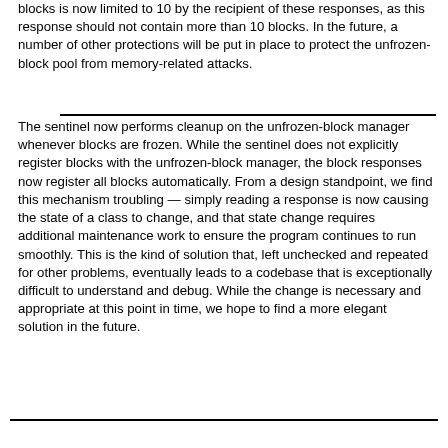blocks is now limited to 10 by the recipient of these responses, as this response should not contain more than 10 blocks. In the future, a number of other protections will be put in place to protect the unfrozen-block pool from memory-related attacks.
The sentinel now performs cleanup on the unfrozen-block manager whenever blocks are frozen. While the sentinel does not explicitly register blocks with the unfrozen-block manager, the block responses now register all blocks automatically. From a design standpoint, we find this mechanism troubling — simply reading a response is now causing the state of a class to change, and that state change requires additional maintenance work to ensure the program continues to run smoothly. This is the kind of solution that, left unchecked and repeated for other problems, eventually leads to a codebase that is exceptionally difficult to understand and debug. While the change is necessary and appropriate at this point in time, we hope to find a more elegant solution in the future.